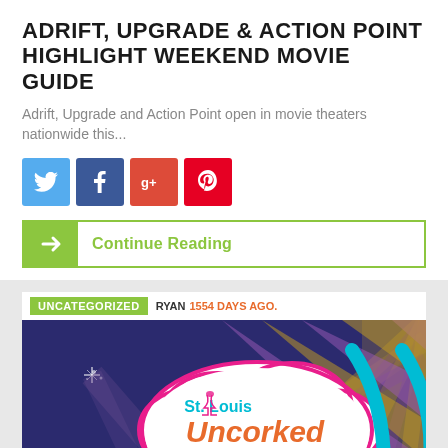ADRIFT, UPGRADE & ACTION POINT HIGHLIGHT WEEKEND MOVIE GUIDE
Adrift, Upgrade and Action Point open in movie theaters nationwide this...
[Figure (infographic): Social share buttons: Twitter (blue), Facebook (dark blue), Google+ (red-orange), Pinterest (red)]
Continue Reading
UNCATEGORIZED  RYAN  1554 DAYS AGO.
[Figure (illustration): St. Louis Uncorked event logo with skyline, rays, arch, and text 'The First Sip of Summer #STLUncorked']